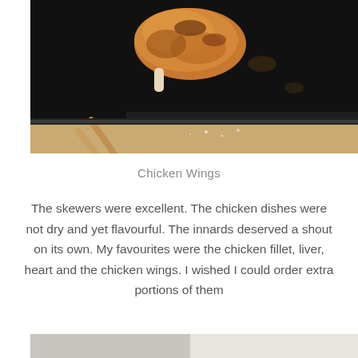[Figure (photo): A hand holding wooden skewers with a piece of roasted/grilled chicken wing on a black baking tray placed on a wooden surface.]
Chicken Wings
The skewers were excellent. The chicken dishes were not dry and yet flavourful. The innards deserved a shout on its own. My favourites were the chicken fillet, liver, heart and the chicken wings. I wished I could order extra portions of them
[Figure (photo): Partial view of another food photo at the bottom of the page.]